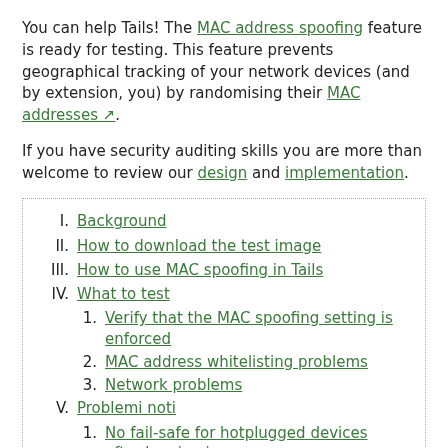You can help Tails! The MAC address spoofing feature is ready for testing. This feature prevents geographical tracking of your network devices (and by extension, you) by randomising their MAC addresses.
If you have security auditing skills you are more than welcome to review our design and implementation.
I. Background
II. How to download the test image
III. How to use MAC spoofing in Tails
IV. What to test
1. Verify that the MAC spoofing setting is enforced
2. MAC address whitelisting problems
3. Network problems
V. Problemi noti
1. No fail-safe for hotplugged devices after logging in